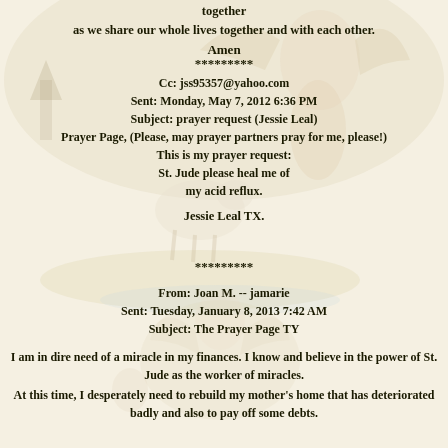together
as we share our whole lives together and with each other.
Amen
*********
Cc: jss95357@yahoo.com
Sent: Monday, May 7, 2012 6:36 PM
Subject: prayer request (Jessie Leal)
Prayer Page, (Please, may prayer partners pray for me, please!)
This is my prayer request:
St. Jude please heal me of
my acid reflux.

Jessie Leal TX.
*********
From: Joan M. -- jamarie
Sent: Tuesday, January 8, 2013 7:42 AM
Subject: The Prayer Page TY
I am in dire need of a miracle in my finances. I know and believe in the power of St. Jude as the worker of miracles.
At this time, I desperately need to rebuild my mother's home that has deteriorated badly and also to pay off some debts.